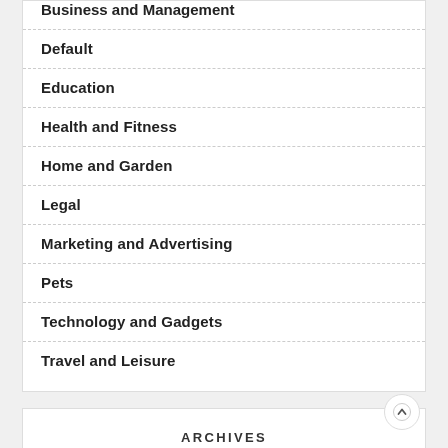Business and Management
Default
Education
Health and Fitness
Home and Garden
Legal
Marketing and Advertising
Pets
Technology and Gadgets
Travel and Leisure
ARCHIVES